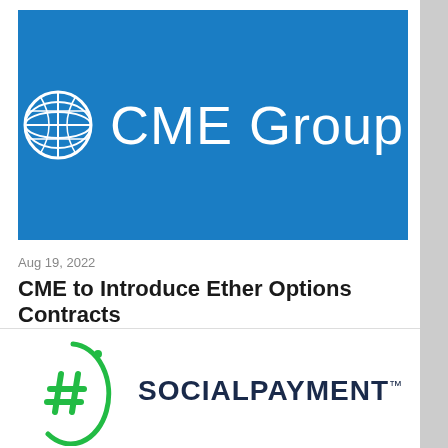[Figure (logo): CME Group logo: globe icon and 'CME Group' text in white on blue background]
Aug 19, 2022
CME to Introduce Ether Options Contracts
[Figure (logo): SocialPayme logo: green hashtag inside an oval/ellipse outline with 'SOCIALPAYMETM' text in dark navy]